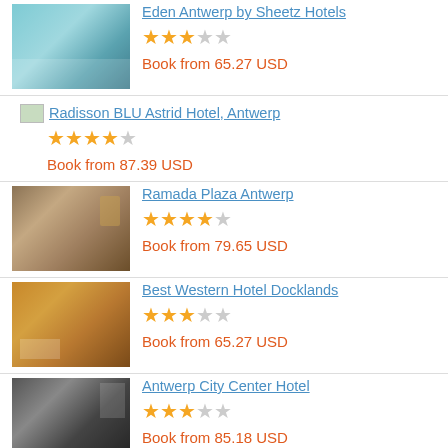[Figure (photo): Hotel room with bed, teal/blue tones - Eden Antwerp by Sheetz Hotels]
Eden Antwerp by Sheetz Hotels
★★★☆☆ (3 stars)
Book from 65.27 USD
[Figure (photo): Small thumbnail - Radisson BLU Astrid Hotel, Antwerp]
Radisson BLU Astrid Hotel, Antwerp
★★★★☆ (4 stars)
Book from 87.39 USD
[Figure (photo): Hotel room with warm tones - Ramada Plaza Antwerp]
Ramada Plaza Antwerp
★★★★☆ (4 stars)
Book from 79.65 USD
[Figure (photo): Hotel room with warm amber/orange tones - Best Western Hotel Docklands]
Best Western Hotel Docklands
★★★☆☆ (3 stars)
Book from 65.27 USD
[Figure (photo): Hotel room in black and white tones - Antwerp City Center Hotel]
Antwerp City Center Hotel
★★★☆☆ (3 stars)
Book from 85.18 USD